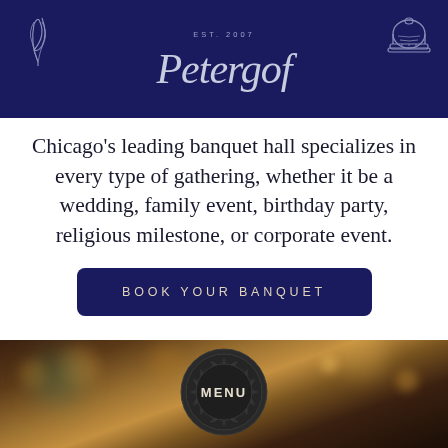EST. 2007 — Petergof logo
Chicago's leading banquet hall specializes in every type of gathering, whether it be a wedding, family event, birthday party, religious milestone, or corporate event.
BOOK YOUR BANQUET
[Figure (photo): Blurred warm bokeh background of a banquet hall with a dark circular decorative medallion badge in the center labeled MENU]